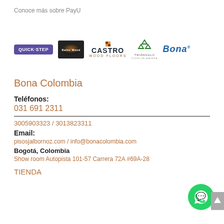Conoce más sobre PayU
[Figure (logo): Row of brand logos: Quick Step (purple), Baltic Wood (dark), Castro Wood Floors, Triangulo, Bona]
Bona Colombia
Teléfonos:
031 691 2311
3005903323 / 3013823311
Email:
pisosjalbornoz.com / info@bonacolombia.com
Bogotá, Colombia
Show room Autopista 101-57 Carrera 72A #69A-28
TIENDA